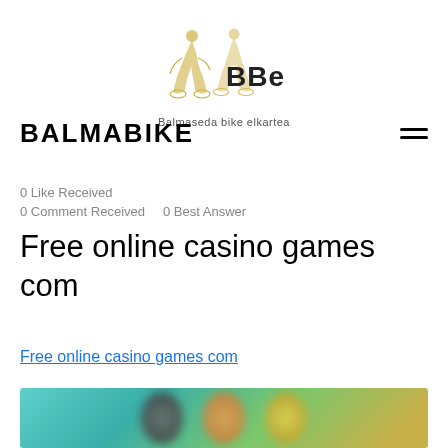[Figure (logo): BBe logo with two cyclists silhouette in gold/yellow outline, text 'BBe' and 'Balmaseda bike elkartea' below]
BALMABIKE
0 Like Received
0 Comment Received   0 Best Answer
Free online casino games com
Free online casino games com
[Figure (photo): Blurred photo showing people, appears to be a casino or gaming related image with teal/green background]